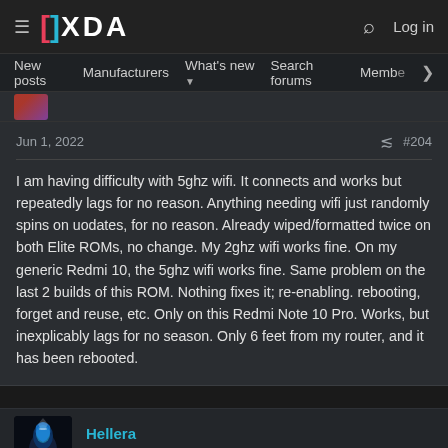XDA Developers — Log in
New posts  Manufacturers  What's new  Search forums  Members  >
Jun 1, 2022  #204
I am having difficulty with 5ghz wifi. It connects and works but repeatedly lags for no reason. Anything needing wifi just randomly spins on uodates, for no reason. Already wiped/formatted twice on both Elite ROMs, no change. My 2ghz wifi works fine. On my generic Redmi 10, the 5ghz wifi works fine. Same problem on the last 2 builds of this ROM. Nothing fixes it; re-enabling. rebooting, forget and reuse, etc. Only on this Redmi Note 10 Pro. Works, but inexplicably lags for no season. Only 6 feet from my router, and it has been rebooted.
Hellera
Senior Member